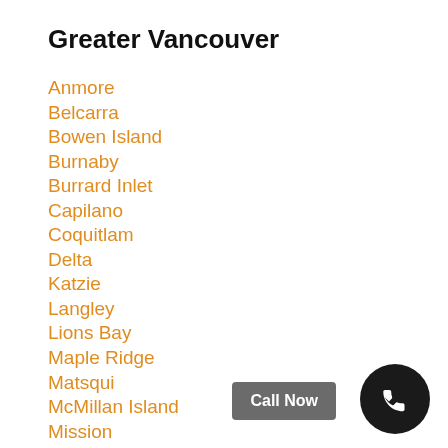Greater Vancouver
Anmore
Belcarra
Bowen Island
Burnaby
Burrard Inlet
Capilano
Coquitlam
Delta
Katzie
Langley
Lions Bay
Maple Ridge
Matsqui
McMillan Island
Mission
Musqueam
New Westminster
North Vancouver
Pitt Meadows
Port Coquitlam
Port Moody
Call Now